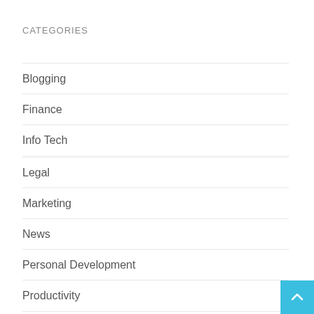CATEGORIES
Blogging
Finance
Info Tech
Legal
Marketing
News
Personal Development
Productivity
Resources
Social Media